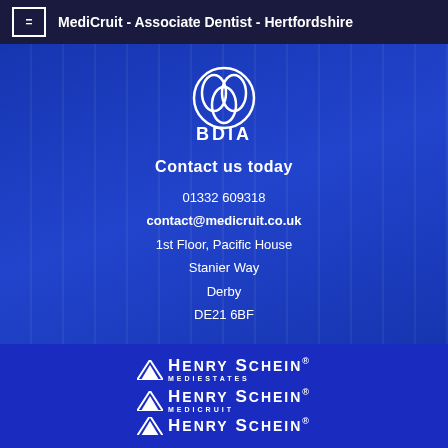MediCruit - Associate Dentist - Hertfordshire
[Figure (logo): BDIA logo - circular interlocking design with BDIA text below in white on blue background]
Contact us today
01332 609318
contact@medicruit.co.uk
1st Floor, Pacific House
Stanier Way
Derby
DE21 6BF
[Figure (logo): Henry Schein Mediestates logo - white text with chevron on blue background]
[Figure (logo): Henry Schein Medicruit logo - white text with chevron on blue background]
[Figure (logo): Henry Schein logo partial - white text with chevron on blue background]